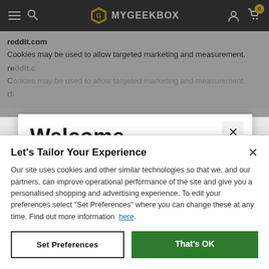[Figure (screenshot): MyGeekBox website navigation bar with hamburger menu, search icon, logo (G icon + MYGEEKBOX text), user icon, and cart icon with badge showing 0]
reddit.com
Cookies may be used to allow targeted marketing and measurement.
reddit.com
Cookies may be used to allow targeted marketing and measurement.
Welcome
It looks like you are in the USA, would you like to see our US
Let's Tailor Your Experience
Our site uses cookies and other similar technologies so that we, and our partners, can improve operational performance of the site and give you a personalised shopping and advertising experience. To edit your preferences select "Set Preferences" where you can change these at any time. Find out more information  here.
Set Preferences
That's OK